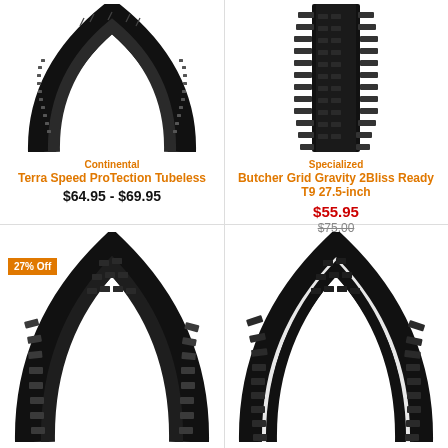[Figure (photo): Continental Terra Speed ProTection Tubeless bicycle tire, black, shown as arc/loop against white background]
Continental
Terra Speed ProTection Tubeless
$64.95 - $69.95
[Figure (photo): Specialized Butcher Grid Gravity 2Bliss Ready T9 27.5-inch bicycle tire, black with knobby tread, shown vertically]
Specialized
Butcher Grid Gravity 2Bliss Ready T9 27.5-inch
$55.95
$75.00
27% Off
[Figure (photo): Bicycle tire with knobby tread shown as partial arc, black, bottom-left product]
[Figure (photo): Bicycle tire with knobby tread shown as partial arc, black with white sidewall stripe, bottom-right product]